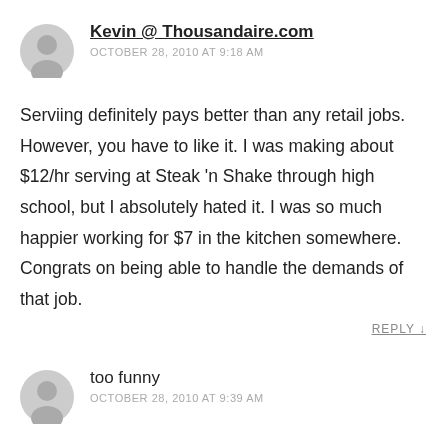Kevin @ Thousandaire.com
OCTOBER 28, 2010 AT 9:18 AM
Serviing definitely pays better than any retail jobs. However, you have to like it. I was making about $12/hr serving at Steak 'n Shake through high school, but I absolutely hated it. I was so much happier working for $7 in the kitchen somewhere. Congrats on being able to handle the demands of that job.
REPLY ↓
too funny
OCTOBER 28, 2010 AT 9:39 AM